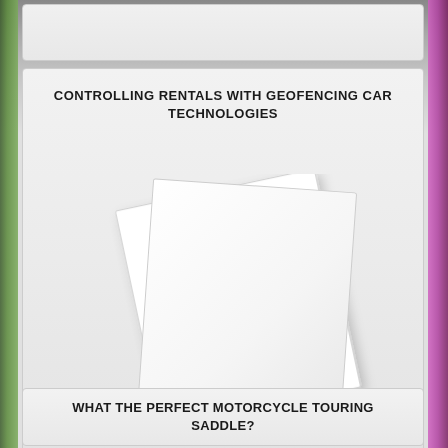CONTROLLING RENTALS WITH GEOFENCING CAR TECHNOLOGIES
[Figure (illustration): Two overlapping white paper/card sheets arranged at slight angles, resembling blank document pages stacked together, on a light gray background]
WHAT THE PERFECT MOTORCYCLE TOURING SADDLE?